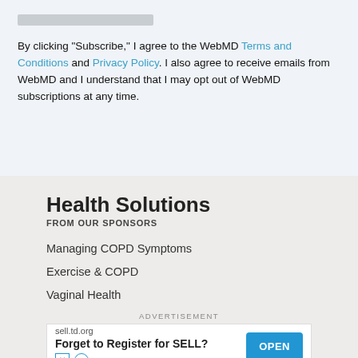By clicking "Subscribe," I agree to the WebMD Terms and Conditions and Privacy Policy. I also agree to receive emails from WebMD and I understand that I may opt out of WebMD subscriptions at any time.
Health Solutions
FROM OUR SPONSORS
Managing COPD Symptoms
Exercise & COPD
Vaginal Health
ADVERTISEMENT
[Figure (other): Advertisement banner: sell.td.org – Forget to Register for SELL? with OPEN button]